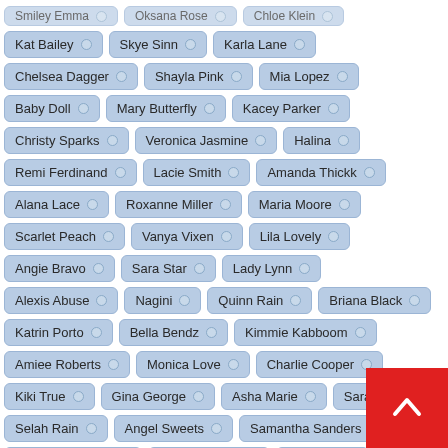Smiley Emma
Oksana Rose
Chloe Klein
Kat Bailey
Skye Sinn
Karla Lane
Chelsea Dagger
Shayla Pink
Mia Lopez
Baby Doll
Mary Butterfly
Kacey Parker
Christy Sparks
Veronica Jasmine
Halina
Remi Ferdinand
Lacie Smith
Amanda Thickk
Alana Lace
Roxanne Miller
Maria Moore
Scarlet Peach
Vanya Vixen
Lila Lovely
Angie Bravo
Sara Star
Lady Lynn
Alexis Abuse
Nagini
Quinn Rain
Briana Black
Katrin Porto
Bella Bendz
Kimmie Kabboom
Amiee Roberts
Monica Love
Charlie Cooper
Kiki True
Gina George
Asha Marie
Sarah P
Selah Rain
Angel Sweets
Samantha Sanders
Shanelle Savage
Georgina Gee
Eva Berg